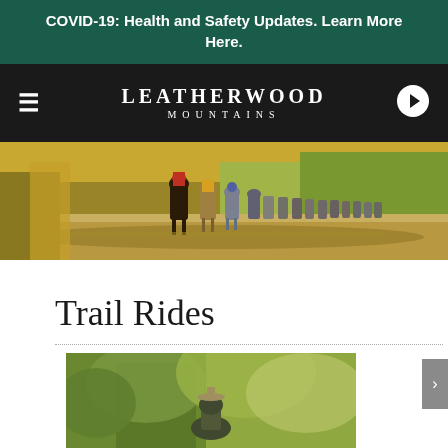COVID-19: Health and Safety Updates. Learn More Here.
[Figure (logo): Leatherwood Mountains logo with hamburger menu and arrow icon on dark navbar]
[Figure (photo): Group of riders on horseback traveling along a trail with autumn foliage and open fields in background]
Trail Rides
[Figure (photo): Close-up photo of a rider on horseback among trees, partially visible]